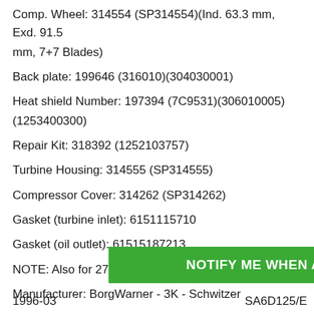Comp. Wheel: 314554 (SP314554)(Ind. 63.3 mm, Exd. 91.5 mm, 7+7 Blades)
Back plate: 199646 (316010)(304030001)
Heat shield Number: 197394 (7C9531)(306010005)(1253400300)
Repair Kit: 318392 (1252103757)
Turbine Housing: 314555 (SP314555)
Compressor Cover: 314262 (SP314262)
Gasket (turbine inlet): 6151115710
Gasket (oil outlet): 61515187213
NOTE: Also for 275 KW at 2200 RPM.
Manufacturer: BorgWarner - 3K - Schwitzer
Applications:
1994-03 Komatsu Earth Moving Excavator PC400 with SA6D12...
[Figure (other): Green notification button overlay reading NOTIFY ME WHEN AVAILABLE]
1996-03 ... SA6D125/E...